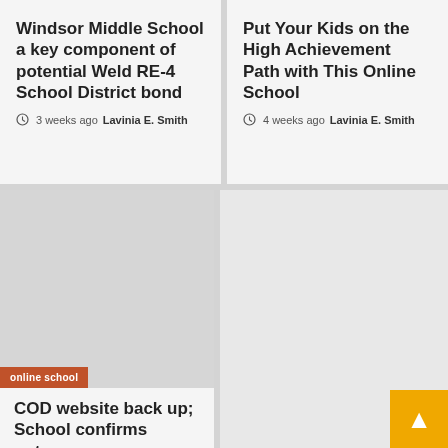Windsor Middle School a key component of potential Weld RE-4 School District bond
3 weeks ago  Lavinia E. Smith
Put Your Kids on the High Achievement Path with This Online School
4 weeks ago  Lavinia E. Smith
[Figure (photo): Gray placeholder image with orange 'online school' tag label at bottom left]
COD website back up; School confirms outage